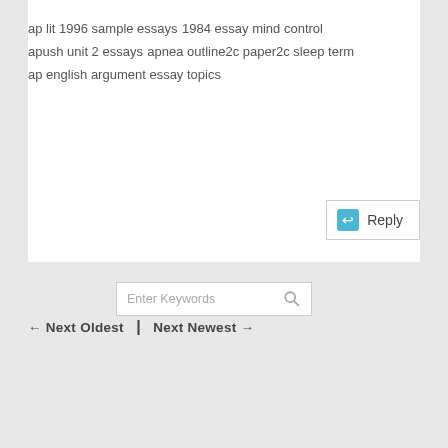ap lit 1996 sample essays
1984 essay mind control
apush unit 2 essays
apnea outline2c paper2c sleep term
ap english argument essay topics
Reply
Enter Keywords
← Next Oldest  |  Next Newest →